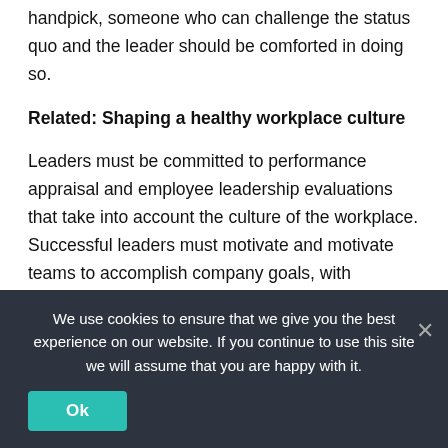handpick, someone who can challenge the status quo and the leader should be comforted in doing so.
Related: Shaping a healthy workplace culture
Leaders must be committed to performance appraisal and employee leadership evaluations that take into account the culture of the workplace. Successful leaders must motivate and motivate teams to accomplish company goals, with coaches, mentors, and strong communication skills. Accountability for the workplace culture should be an important part of how leaders are valued. They need to be responsible for
We use cookies to ensure that we give you the best experience on our website. If you continue to use this site we will assume that you are happy with it.
Ok